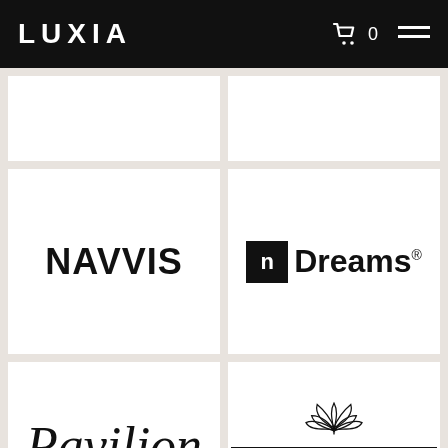[Figure (logo): LUXIA website header with black background. LUXIA logo in white bold spaced letters on the left, shopping cart icon with '0' count and hamburger menu icon on the right.]
[Figure (logo): Empty white card (top-left), partially visible]
[Figure (logo): Empty white card (top-right), partially visible]
[Figure (logo): NavVis logo: bold sans-serif wordmark 'NavVis' in black]
[Figure (logo): nDreams logo: black square with white 'n' followed by 'Dreams' text with registered trademark symbol]
[Figure (logo): Pavilion Crossing logo: italic script 'Pavilion' with 'CROSSING' in spaced uppercase below, flanked by horizontal lines]
[Figure (logo): Private Harley Street Clinic logo: lotus flower above a rectangular border containing 'PRIVATE', 'HARLEY STREET', 'CLINIC' in uppercase spaced letters]
[Figure (logo): Empty white card (bottom-left), partially visible]
[Figure (logo): Empty white card (bottom-right), partially visible]